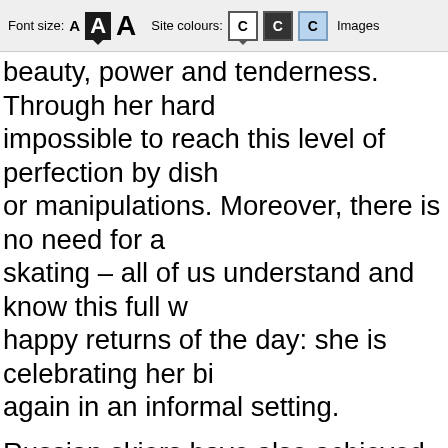Font size: A A A   Site colours: C C C   Images
beauty, power and tenderness. Through her hard impossible to reach this level of perfection by dish or manipulations. Moreover, there is no need for a skating – all of us understand and know this full w happy returns of the day: she is celebrating her bi again in an informal setting.
Russian skiers have also achieved outstanding su skiing relay victories. As is common knowledge, th team won the title of champion was in 2006, and a a simultaneous victory by the relay teams, male a a great achievement.
The confident and powerful performance by our la Nepryayeva and Veronika Stepanova – has becor Veronika Stepanova turned out to be the younges